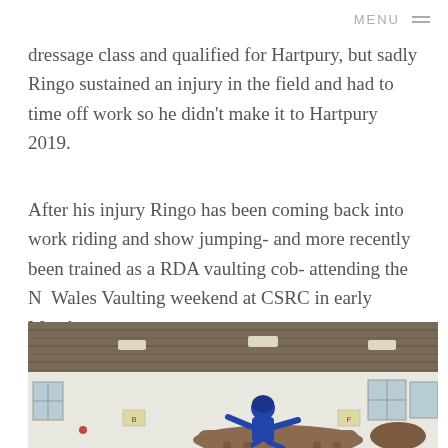MENU ≡
dressage class and qualified for Hartpury, but sadly Ringo sustained an injury in the field and had to time off work so he didn't make it to Hartpury 2019.
After his injury Ringo has been coming back into work riding and show jumping- and more recently been trained as a RDA vaulting cob- attending the N  Wales Vaulting weekend at CSRC in early March.
[Figure (photo): Indoor equestrian arena with metal roof. A person in blue helmet and jacket is vaulting or jumping over a horse, with arena letters and markings visible on the white walls.]